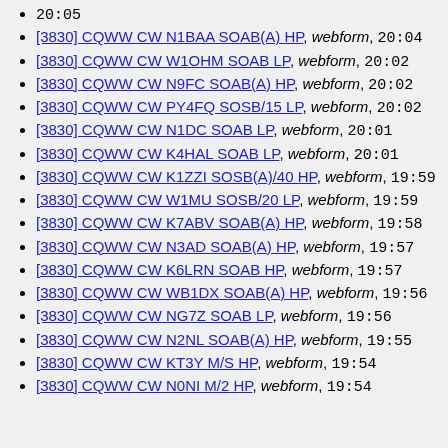20:05
[3830] CQWW CW N1BAA SOAB(A) HP, webform, 20:04
[3830] CQWW CW W1OHM SOAB LP, webform, 20:02
[3830] CQWW CW N9FC SOAB(A) HP, webform, 20:02
[3830] CQWW CW PY4FQ SOSB/15 LP, webform, 20:02
[3830] CQWW CW N1DC SOAB LP, webform, 20:01
[3830] CQWW CW K4HAL SOAB LP, webform, 20:01
[3830] CQWW CW K1ZZI SOSB(A)/40 HP, webform, 19:59
[3830] CQWW CW W1MU SOSB/20 LP, webform, 19:59
[3830] CQWW CW K7ABV SOAB(A) HP, webform, 19:58
[3830] CQWW CW N3AD SOAB(A) HP, webform, 19:57
[3830] CQWW CW K6LRN SOAB HP, webform, 19:57
[3830] CQWW CW WB1DX SOAB(A) HP, webform, 19:56
[3830] CQWW CW NG7Z SOAB LP, webform, 19:56
[3830] CQWW CW N2NL SOAB(A) HP, webform, 19:55
[3830] CQWW CW KT3Y M/S HP, webform, 19:54
[3830] CQWW CW N0NI M/2 HP, webform, 19:54